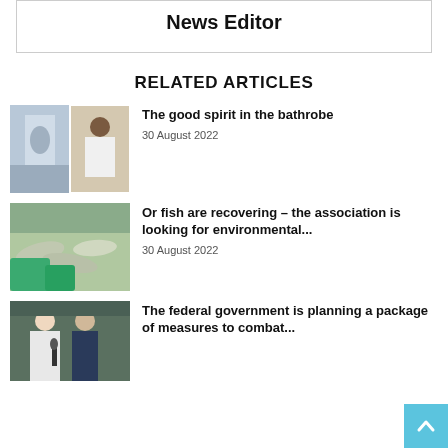News Editor
RELATED ARTICLES
[Figure (photo): Two overlapping photos: a window with a domed building view and a man in a white shirt]
The good spirit in the bathrobe
30 August 2022
[Figure (photo): Fish being handled with green gloves]
Or fish are recovering – the association is looking for environmental...
30 August 2022
[Figure (photo): A woman and a man outdoors, appears to be a press event]
The federal government is planning a package of measures to combat...